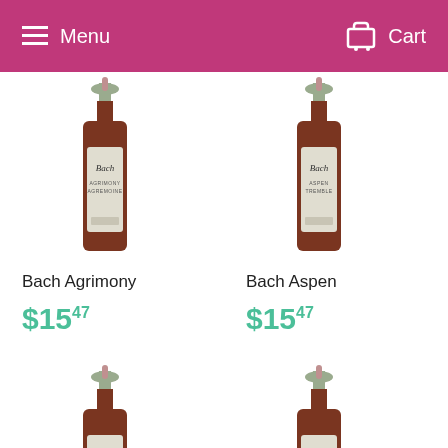Menu  Cart
[Figure (photo): Bach Agrimony flower remedy dropper bottle with green label]
Bach Agrimony
$15.47
[Figure (photo): Bach Aspen Tremble flower remedy dropper bottle with green label]
Bach Aspen
$15.47
[Figure (photo): Bach flower remedy dropper bottle with green label (partially visible)]
[Figure (photo): Bach flower remedy dropper bottle with green label (partially visible)]